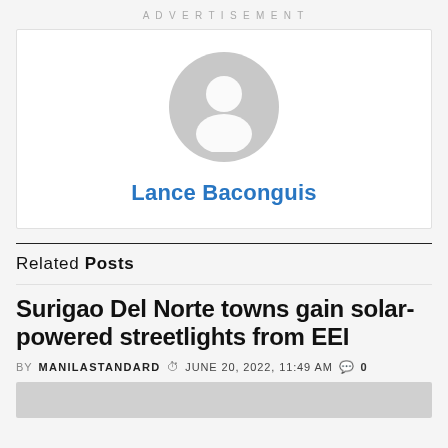ADVERTISEMENT
[Figure (illustration): Author avatar card with generic user silhouette icon and author name 'Lance Baconguis' in blue text]
Lance Baconguis
Related Posts
Surigao Del Norte towns gain solar-powered streetlights from EEI
BY MANILASTANDARD  JUNE 20, 2022, 11:49 AM  0
[Figure (photo): Thumbnail image stub for the related post]